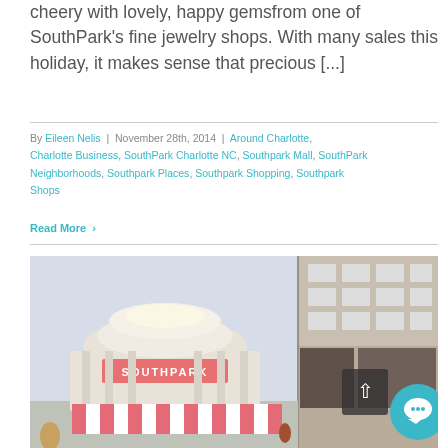cheery with lovely, happy gemsfrom one of SouthPark's fine jewelry shops. With many sales this holiday, it makes sense that precious [...]
By Eileen Nelis | November 28th, 2014 | Around Charlotte, Charlotte Business, SouthPark Charlotte NC, Southpark Mall, SouthPark Neighborhoods, Southpark Places, Southpark Shopping, Southpark Shops
Read More ›
[Figure (photo): Exterior photo of SouthPark mall entrance with pink and white striped awnings, a circular architectural feature with 'SOUTHPARK' signage, and an adjacent multi-story building facade.]